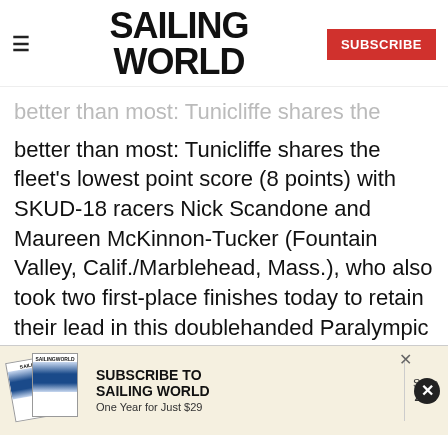SAILING WORLD — SUBSCRIBE
...better than most: Tunicliffe shares the fleet's lowest point score (8 points) with SKUD-18 racers Nick Scandone and Maureen McKinnon-Tucker (Fountain Valley, Calif./Marblehead, Mass.), who also took two first-place finishes today to retain their lead in this doublehanded Paralympic class. Sonar skipper Rick Doerr (Clifton, N.J.), racing with Tim Angle, and Bill Donohue (Marblehead, Mass./Brick, N.J.)... a jury decision to reinstate Race #3, which...
[Figure (advertisement): Subscribe to Sailing World advertisement banner — One Year for Just $29, Save 27%]